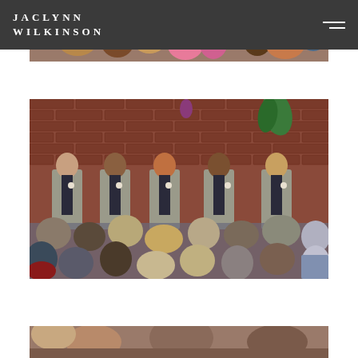JACLYNN WILKINSON
[Figure (photo): Top portion of a wedding crowd photo, showing guests with colorful attire from above]
[Figure (photo): Wedding ceremony photo showing five groomsmen in gray suits standing in front of a brick wall, with seated guests in the foreground]
[Figure (photo): Bottom portion of another wedding photo, partially visible]